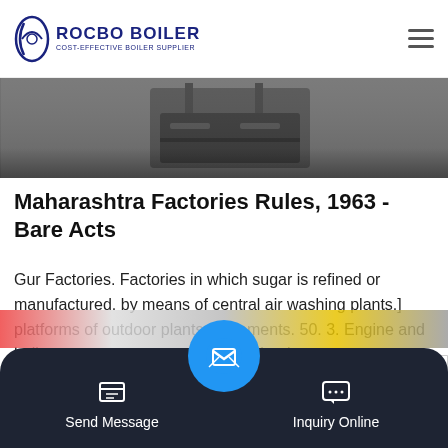ROCBO BOILER - COST-EFFECTIVE BOILER SUPPLIER
[Figure (photo): Partial photo of industrial boiler/machinery equipment]
Maharashtra Factories Rules, 1963 - Bare Acts
Gur Factories. Factories in which sugar is refined or manufactured. by means of central air washing plants.] platforms of outdoor plants, basements. 50. 3. Engine and boiler rooms, passengers and freight elevators, conveyers crating and boxing departments,...
Send Message  Inquiry Online